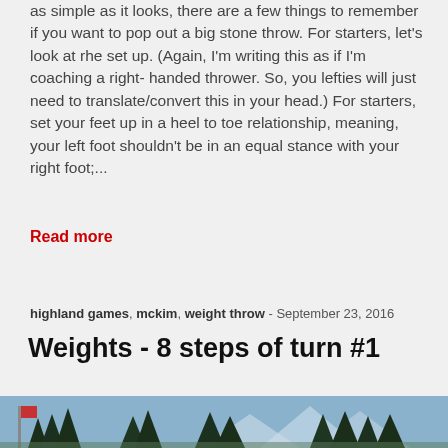as simple as it looks, there are a few things to remember if you want to pop out a big stone throw. For starters, let's look at rhe set up. (Again, I'm writing this as if I'm coaching a right- handed thrower. So, you lefties will just need to translate/convert this in your head.) For starters, set your feet up in a heel to toe relationship, meaning, your left foot shouldn't be in an equal stance with your right foot;...
Read more
highland games, mckim, weight throw - September 23, 2016
Weights - 8 steps of turn #1
[Figure (photo): Outdoor photo showing a highland games venue with trees and mountains in the background, and a flag or banner visible on the left side.]